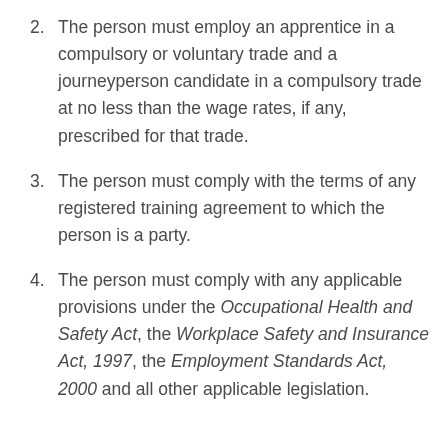2. The person must employ an apprentice in a compulsory or voluntary trade and a journeyperson candidate in a compulsory trade at no less than the wage rates, if any, prescribed for that trade.
3. The person must comply with the terms of any registered training agreement to which the person is a party.
4. The person must comply with any applicable provisions under the Occupational Health and Safety Act, the Workplace Safety and Insurance Act, 1997, the Employment Standards Act, 2000 and all other applicable legislation.